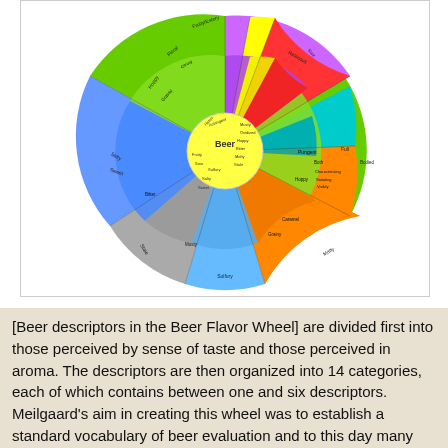[Figure (infographic): Beer Flavor Wheel — a circular diagram divided into colored segments representing different beer flavor/aroma categories and descriptors. Center circle labeled 'Beer'. Segments include green, blue, purple, red, gray, light blue, orange, yellow, and other colors, each subdivided into named sub-categories and descriptors arranged radially.]
[Beer descriptors in the Beer Flavor Wheel] are divided first into those perceived by sense of taste and those perceived in aroma. The descriptors are then organized into 14 categories, each of which contains between one and six descriptors. Meilgaard's aim in creating this wheel was to establish a standard vocabulary of beer evaluation and to this day many